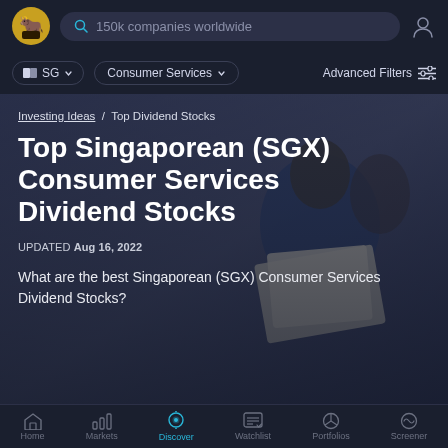[Figure (screenshot): App top navigation bar with logo, search bar showing '150k companies worldwide', and user icon]
[Figure (screenshot): Filter bar with SG country pill, Consumer Services dropdown pill, and Advanced Filters]
Investing Ideas / Top Dividend Stocks
Top Singaporean (SGX) Consumer Services Dividend Stocks
UPDATED Aug 16, 2022
What are the best Singaporean (SGX) Consumer Services Dividend Stocks?
[Figure (screenshot): App bottom navigation bar with Home, Markets, Discover (active/highlighted), Watchlist, Portfolios, Screener icons]